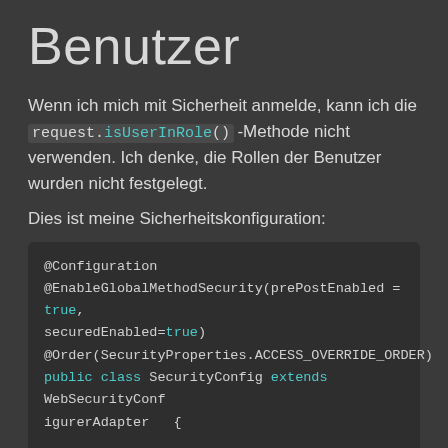Benutzer
Wenn ich mich mit Sicherheit anmelde, kann ich die request.isUserInRole()-Methode nicht verwenden. Ich denke, die Rollen der Benutzer wurden nicht festgelegt.
Dies ist meine Sicherheitskonfiguration:
@Configuration
@EnableGlobalMethodSecurity(prePostEnabled = true, securedEnabled=true)
@Order(SecurityProperties.ACCESS_OVERRIDE_ORDER)
public class SecurityConfig extends WebSecurityConfigurerAdapter  {

@Autowired